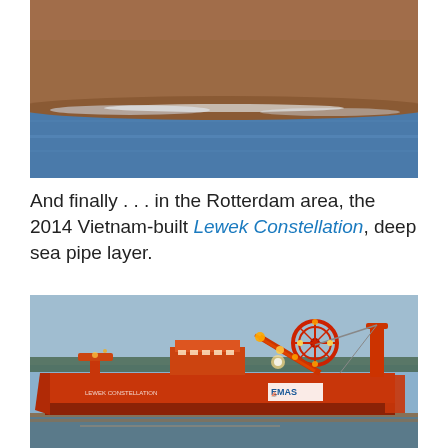[Figure (photo): Top portion of a large ship hull (rust/orange colored) with ocean water below it, viewed from water level. The bottom half of the ship's hull is visible with blue ocean water.]
And finally . . . in the Rotterdam area, the 2014 Vietnam-built Lewek Constellation, deep sea pipe layer.
[Figure (photo): The Lewek Constellation, a deep sea pipe layer vessel, shown in the Rotterdam area. The ship is bright red/orange with large pipe-laying equipment, crane arms, and a reel on deck. The EMAS company logo is visible on the hull. The ship is photographed at dusk or dawn with golden light reflecting on the water.]